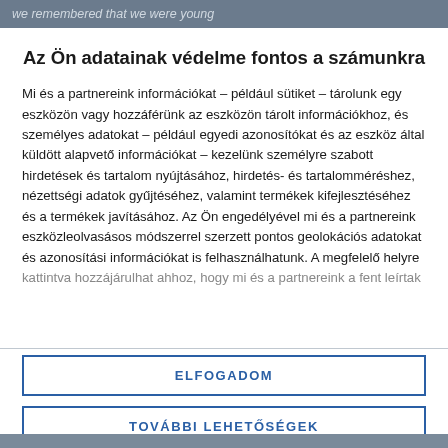we remembered that we were young
Az Ön adatainak védelme fontos a számunkra
Mi és a partnereink információkat – például sütiket – tárolunk egy eszközön vagy hozzáférünk az eszközön tárolt információkhoz, és személyes adatokat – például egyedi azonosítókat és az eszköz által küldött alapvető információkat – kezelünk személyre szabott hirdetések és tartalom nyújtásához, hirdetés- és tartalomméréshez, nézettségi adatok gyűjtéséhez, valamint termékek kifejlesztéséhez és a termékek javításához. Az Ön engedélyével mi és a partnereink eszközleolvasásos módszerrel szerzett pontos geolokációs adatokat és azonosítási információkat is felhasználhatunk. A megfelelő helyre kattintva hozzájárulhat ahhoz, hogy mi és a partnereink a fent leírtak
ELFOGADOM
TOVÁBBI LEHETŐSÉGEK